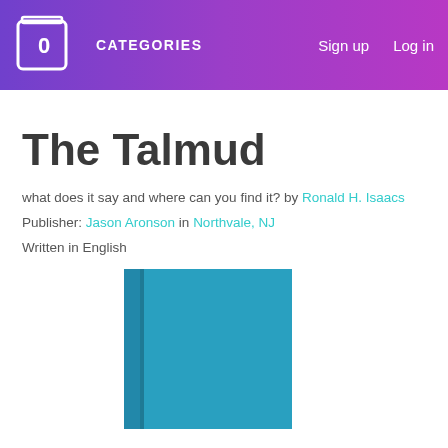CATEGORIES   Sign up   Log in
The Talmud
what does it say and where can you find it? by Ronald H. Isaacs
Publisher: Jason Aronson in Northvale, NJ
Written in English
[Figure (illustration): Blue book cover of The Talmud]